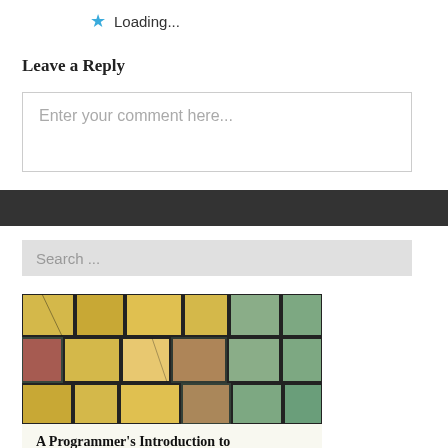Loading...
Leave a Reply
Enter your comment here...
Search ...
[Figure (illustration): Book cover with mosaic/stone pattern painting in yellows, greens, and oranges]
A Programmer's Introduction to Mathematics